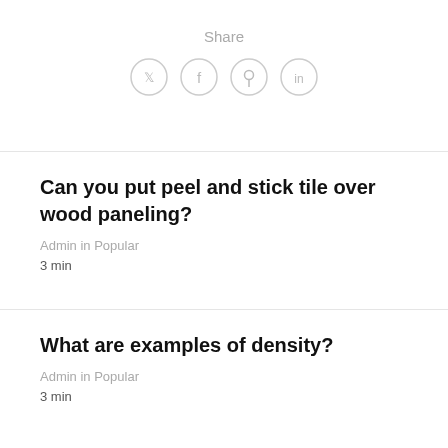Share
[Figure (infographic): Four social media icon circles: Twitter (bird), Facebook (f), Pinterest (pin/circle), LinkedIn (in)]
Can you put peel and stick tile over wood paneling?
Admin in Popular
3 min
What are examples of density?
Admin in Popular
3 min